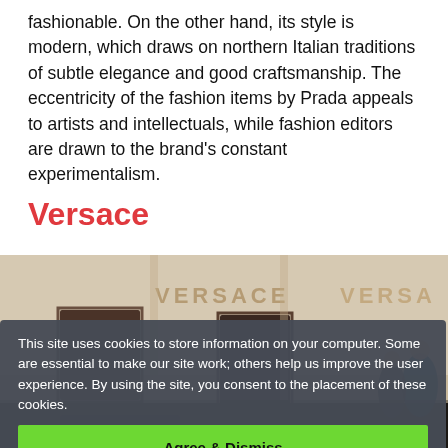fashionable. On the other hand, its style is modern, which draws on northern Italian traditions of subtle elegance and good craftsmanship. The eccentricity of the fashion items by Prada appeals to artists and intellectuals, while fashion editors are drawn to the brand's constant experimentalism.
Versace
[Figure (photo): Exterior of a Versace store with stone facade showing 'VERSACE' lettering, people visible on the street]
This site uses cookies to store information on your computer. Some are essential to make our site work; others help us improve the user experience. By using the site, you consent to the placement of these cookies.
Agree & Dismiss